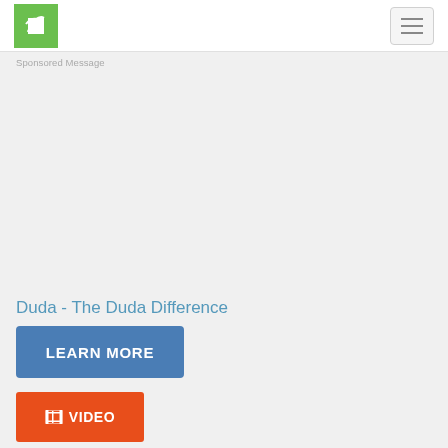[Figure (logo): Green and white stylized plant/sprout logo icon]
[Figure (other): Hamburger menu button with three horizontal lines]
Sponsored Message
Duda - The Duda Difference
[Figure (other): Blue 'LEARN MORE' call-to-action button]
[Figure (other): Orange 'VIDEO' button with film strip icon]